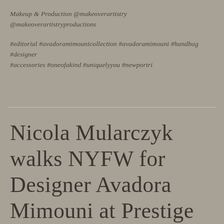Makeup & Production @makeoverartistry @makeoverartistryproductions
#editorial #avadoramimounicollection #avadoramimouni #handbag #designer #accessories #oneofakind #uniquelyyou #newportri
Nicola Mularczyk walks NYFW for Designer Avadora Mimouni at Prestige Top Model